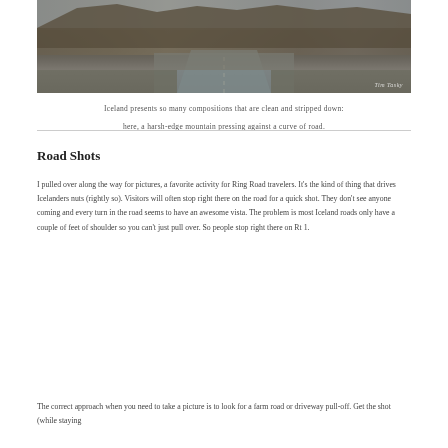[Figure (photo): A road in Iceland curving toward the horizon with a harsh mountain edge in the background under an overcast sky. A watermark signature appears in the bottom right.]
Iceland presents so many compositions that are clean and stripped down: here, a harsh-edge mountain pressing against a curve of road.
Road Shots
I pulled over along the way for pictures, a favorite activity for Ring Road travelers. It's the kind of thing that drives Icelanders nuts (rightly so). Visitors will often stop right there on the road for a quick shot. They don't see anyone coming and every turn in the road seems to have an awesome vista. The problem is most Iceland roads only have a couple of feet of shoulder so you can't just pull over. So people stop right there on Rt 1.
The correct approach when you need to take a picture is to look for a farm road or driveway pull-off. Get the shot (while staying